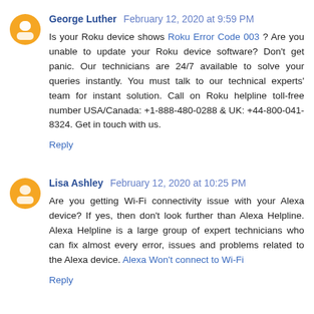George Luther  February 12, 2020 at 9:59 PM
Is your Roku device shows Roku Error Code 003 ? Are you unable to update your Roku device software? Don't get panic. Our technicians are 24/7 available to solve your queries instantly. You must talk to our technical experts' team for instant solution. Call on Roku helpline toll-free number USA/Canada: +1-888-480-0288 & UK: +44-800-041-8324. Get in touch with us.
Reply
Lisa Ashley  February 12, 2020 at 10:25 PM
Are you getting Wi-Fi connectivity issue with your Alexa device? If yes, then don't look further than Alexa Helpline. Alexa Helpline is a large group of expert technicians who can fix almost every error, issues and problems related to the Alexa device. Alexa Won't connect to Wi-Fi
Reply